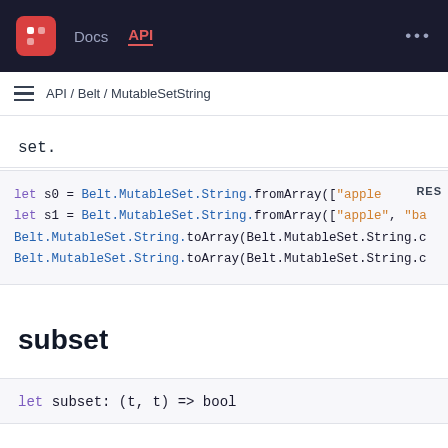Docs  API
API / Belt / MutableSetString
set.
[Figure (screenshot): Code block showing: let s0 = Belt.MutableSet.String.fromArray(["apple"...  let s1 = Belt.MutableSet.String.fromArray(["apple", "ba"... Belt.MutableSet.String.toArray(Belt.MutableSet.String.c... Belt.MutableSet.String.toArray(Belt.MutableSet.String.c... with RES label top right]
subset
let subset: (t, t) => bool